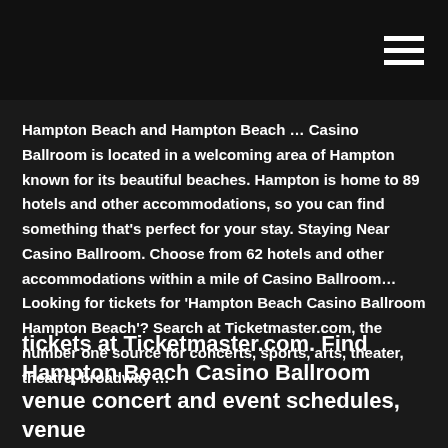[hamburger menu icon]
Hampton Beach and Hampton Beach … Casino Ballroom is located in a welcoming area of Hampton known for its beautiful beaches. Hampton is home to 89 hotels and other accommodations, so you can find something that's perfect for your stay. Staying Near Casino Ballroom. Choose from 62 hotels and other accommodations within a mile of Casino Ballroom… Looking for tickets for 'Hampton Beach Casino Ballroom Hampton Beach'? Search at Ticketmaster.com, the number one source for concerts, sports, arts, theater, theatre, broadway …
tickets at Ticketmaster.com. Find Hampton Beach Casino Ballroom venue concert and event schedules, venue information, directions, and seating